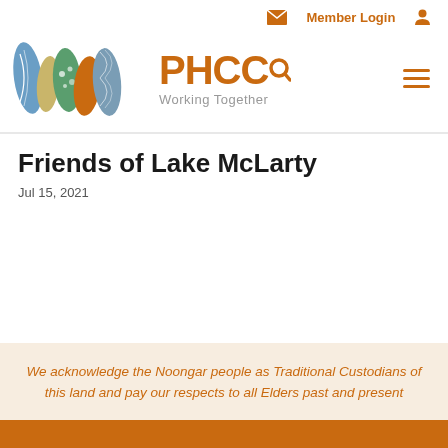Member Login
[Figure (logo): PHCC Working Together logo with colorful abstract shapes and PHCC text with a magnifying glass icon]
Friends of Lake McLarty
Jul 15, 2021
We acknowledge the Noongar people as Traditional Custodians of this land and pay our respects to all Elders past and present